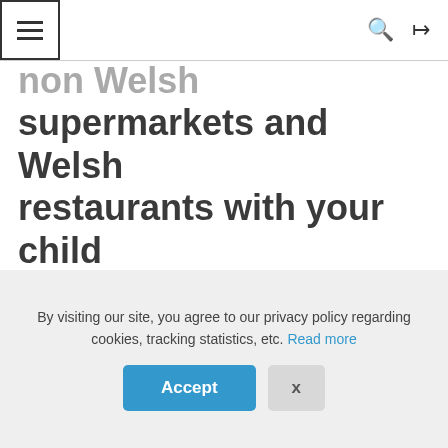≡  🔍  ⇄
…non Welsh supermarkets and Welsh restaurants with your child
[Figure (illustration): Cartoon illustration of a child wearing a red beret next to a French confiserie (candy shop) storefront with a French flag on top and a striped awning.]
By visiting our site, you agree to our privacy policy regarding cookies, tracking statistics, etc. Read more
Accept  X